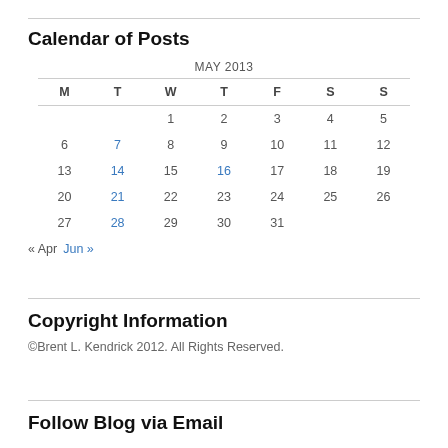Calendar of Posts
| M | T | W | T | F | S | S |
| --- | --- | --- | --- | --- | --- | --- |
|  |  | 1 | 2 | 3 | 4 | 5 |
| 6 | 7 | 8 | 9 | 10 | 11 | 12 |
| 13 | 14 | 15 | 16 | 17 | 18 | 19 |
| 20 | 21 | 22 | 23 | 24 | 25 | 26 |
| 27 | 28 | 29 | 30 | 31 |  |  |
« Apr  Jun »
Copyright Information
©Brent L. Kendrick 2012. All Rights Reserved.
Follow Blog via Email